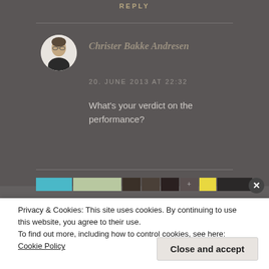REPLY
[Figure (photo): Circular avatar photo of a man with glasses wearing a dark turtleneck, against a white background]
Christer Bakke Andresen
20. JUNE 2013 AT 22:32
What's your verdict on the performance?
[Figure (screenshot): Thumbnail strip showing various small images in a row]
Privacy & Cookies: This site uses cookies. By continuing to use this website, you agree to their use.
To find out more, including how to control cookies, see here: Cookie Policy
Close and accept